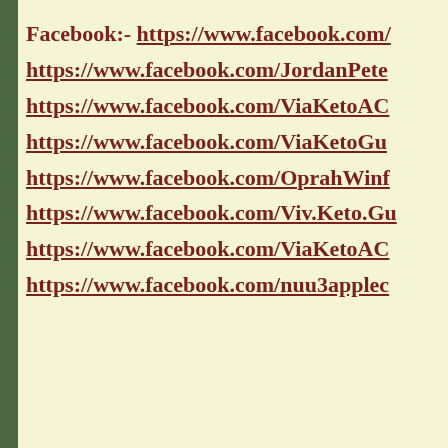Facebook:- https://www.facebook.com/...
https://www.facebook.com/JordanPete...
https://www.facebook.com/ViaKetoAC...
https://www.facebook.com/ViaKetoGu...
https://www.facebook.com/OprahWinf...
https://www.facebook.com/Viv.Keto.Gu...
https://www.facebook.com/ViaKetoAC...
https://www.facebook.com/nuu3applec...